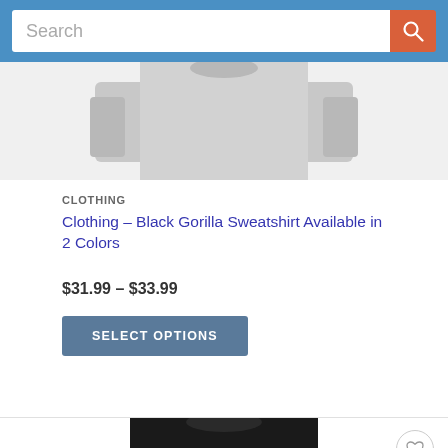Search
[Figure (photo): Grey sweatshirt product image, partially cropped at top]
CLOTHING
Clothing – Black Gorilla Sweatshirt Available in 2 Colors
$31.99 – $33.99
SELECT OPTIONS
[Figure (photo): Black sweatshirt with blue checkered oval GV logo on the front, on white background. Wishlist heart button visible in top right corner.]